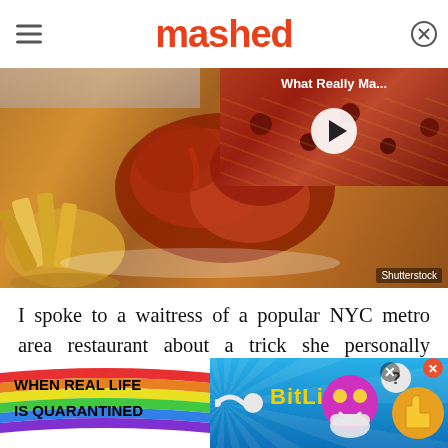mashed
[Figure (photo): Food photo showing chicken wings with BBQ sauce and french fries on a white plate, with a video overlay in the top-right showing pizza with text 'What Really Ma...' and a play button. Shutterstock watermark visible.]
I spoke to a waitress of a popular NYC metro area restaurant about a trick she personally witnessed her co-worker pull on a male customer who got a little too big for his britches during a recent dinner shift.
[Figure (infographic): Advertisement banner for BitLife game with rainbow stripes, text 'WHEN REAL LIFE IS QUARANTINED', BitLife logo in yellow, and cartoon emoji characters on the right.]